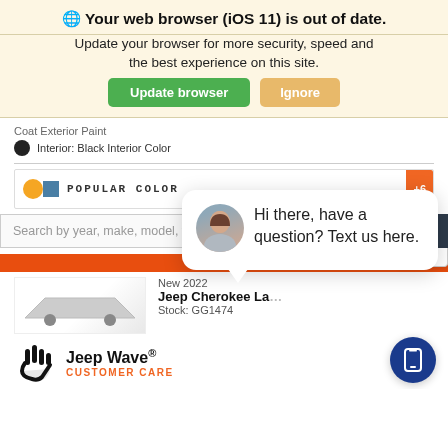🌐 Your web browser (iOS 11) is out of date.
Update your browser for more security, speed and the best experience on this site.
Update browser | Ignore
Coat Exterior Paint
Interior: Black Interior Color
[Figure (screenshot): Popular color selector bar with orange and blue color swatches and +6 badge]
Search by year, make, model, feature...
Refine
close
New 2022
Jeep Cherokee La
Stock: GG1474
[Figure (screenshot): Chat bubble with avatar photo saying: Hi there, have a question? Text us here.]
[Figure (logo): Jeep Wave Customer Care logo with hand icon]
[Figure (other): Blue circular phone/mobile button]